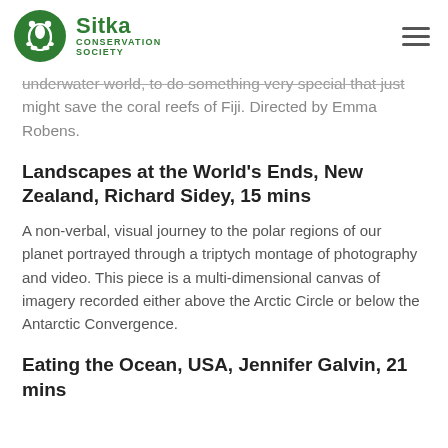Sitka Conservation Society
underwater world, to do something very special that just might save the coral reefs of Fiji. Directed by Emma Robens.
Landscapes at the World's Ends, New Zealand, Richard Sidey, 15 mins
A non-verbal, visual journey to the polar regions of our planet portrayed through a triptych montage of photography and video. This piece is a multi-dimensional canvas of imagery recorded either above the Arctic Circle or below the Antarctic Convergence.
Eating the Ocean, USA, Jennifer Galvin, 21 mins